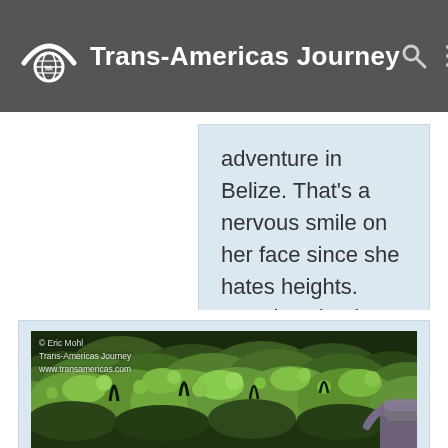Trans-Americas Journey
adventure in Belize. That's a nervous smile on her face since she hates heights. Note her death grip on the harness…
[Figure (photo): Aerial view of lush green jungle canopy in Belize, with a person partially visible at the lower right edge, shot from high above during a zip-line or canopy adventure. Watermark reads: © Eric Mohl Trans-Americas Journey www.transamericas.com]